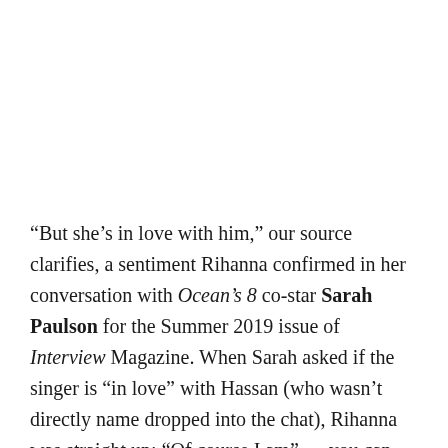“But she’s in love with him,” our source clarifies, a sentiment Rihanna confirmed in her conversation with Ocean’s 8 co-star Sarah Paulson for the Summer 2019 issue of Interview Magazine. When Sarah asked if the singer is “in love” with Hassan (who wasn’t directly name dropped into the chat), Rihanna was straight up: “Of course I am” — you can watch the